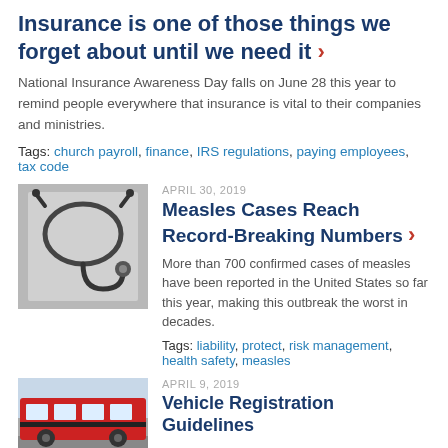Insurance is one of those things we forget about until we need it ›
National Insurance Awareness Day falls on June 28 this year to remind people everywhere that insurance is vital to their companies and ministries.
Tags: church payroll, finance, IRS regulations, paying employees, tax code
[Figure (photo): Black and white photo of a stethoscope on a surface]
APRIL 30, 2019
Measles Cases Reach Record-Breaking Numbers ›
More than 700 confirmed cases of measles have been reported in the United States so far this year, making this outbreak the worst in decades.
Tags: liability, protect, risk management, health safety, measles
[Figure (photo): Photo of a school bus]
APRIL 9, 2019
Vehicle Registration Guidelines